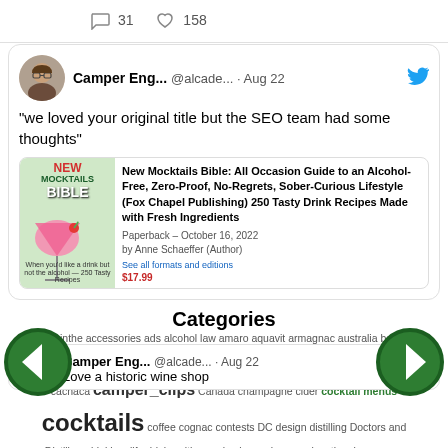31  158
Camper Eng... @alcade... · Aug 22
"we loved your original title but the SEO team had some thoughts"
New Mocktails Bible: All Occasion Guide to an Alcohol-Free, Zero-Proof, No-Regrets, Sober-Curious Lifestyle (Fox Chapel Publishing) 250 Tasty Drink Recipes Made with Fresh Ingredients
Paperback – October 16, 2022
by Anne Schaeffer (Author)
Categories
absinthe accessories ads alcohol law amaro aquavit armagnac australia baijiu bar tools bars bartenders beer bitters books Boston bourbon brandy cachaca camper_clips Canada champagne cider cocktail menus cocktails coffee cognac contests DC design distilling Doctors and Distillers drinking_life drinks with eau de vie eco-booze educational programs events experiments fernet food France fun garnish genever germany gifts gin giveaways Glasgow glassware grappa health history ice India industry news Ireland Italy Japan Las Vegas legal/law/regulations liqueur LOLDrinks lon Los Angeles Mexico mixers mixology New York new_booze non-alcoholic pairing pisco Portland, OR punch recipes rum rye safety sake San Francisco science scotch whisky Scotland Seattle sherry snap shots soju Spain sponsorship stores sweeteners Tales of the Cocktail tea technology television tequila tiki tonic tonic water trends trips vermouth videos vinegar vodka wine water weblogs whisky wine wood writing_life
Camper Eng... @alcade... · Aug 22
Love a historic wine shop